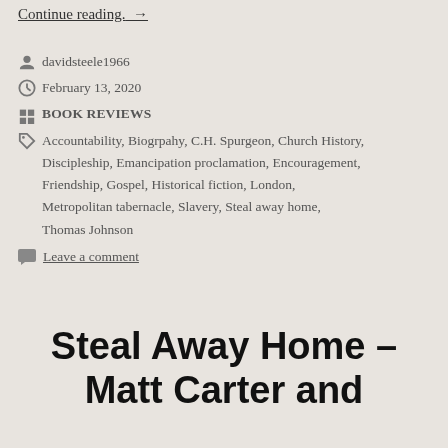Continue reading. →
davidsteele1966
February 13, 2020
BOOK REVIEWS
Accountability, Biogrpahy, C.H. Spurgeon, Church History, Discipleship, Emancipation proclamation, Encouragement, Friendship, Gospel, Historical fiction, London, Metropolitan tabernacle, Slavery, Steal away home, Thomas Johnson
Leave a comment
Steal Away Home – Matt Carter and